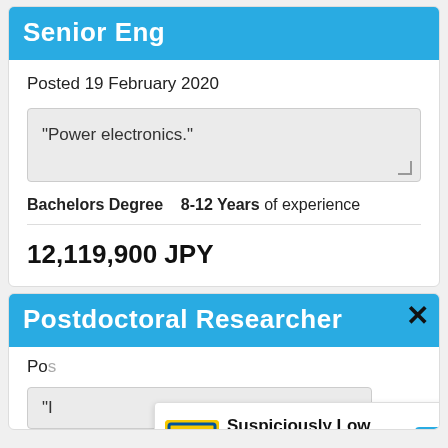Senior Eng
Posted 19 February 2020
"Power electronics."
Bachelors Degree   8-12 Years of experience
12,119,900 JPY
Postdoctoral Researcher
Po...
"I...
[Figure (screenshot): Advertisement overlay showing Lidl logo with text 'Suspiciously Low Prices' and 'Lidl' in blue, with a blue navigation arrow icon on the right. Below the ad are play/stop icons.]